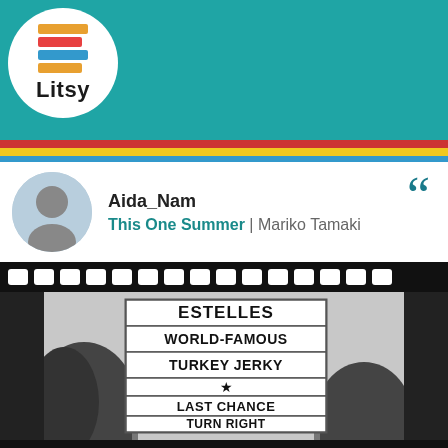[Figure (screenshot): Litsy app logo in white circle — stacked colorful book spines with 'Litsy' text below]
[Figure (screenshot): Litsy app navigation bar with home, search, plus, lightning, and profile icons on teal background with red, yellow, blue stripes]
Aida_Nam
This One Summer | Mariko Tamaki
[Figure (photo): Black and white film-strip style photo of a roadside sign reading: ESTELLES WORLD-FAMOUS TURKEY JERKY * LAST CHANCE TURN RIGHT]